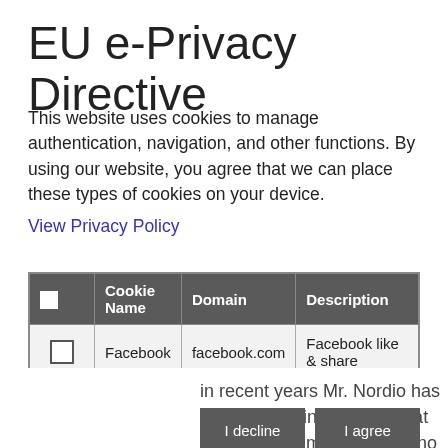EU e-Privacy Directive
This website uses cookies to manage authentication, navigation, and other functions. By using our website, you agree that we can place these types of cookies on your device.
View Privacy Policy
|  | Cookie Name | Domain | Description |
| --- | --- | --- | --- |
| ☐ | Facebook | facebook.com | Facebook like & share |
I decline
I agree
in recent years Mr. Nordio has collaborated in workshops at Pilchuck, Niijima, and Murano Centro Studio Vetro. In 1996 he assisted Roger